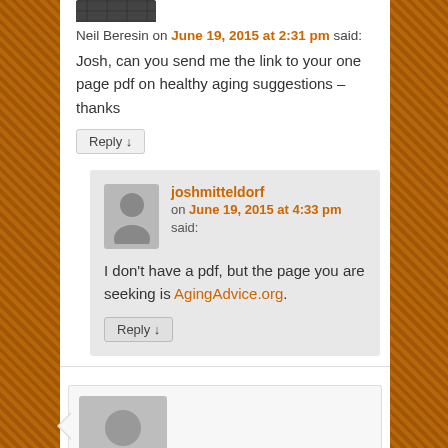Neil Beresin on June 19, 2015 at 2:31 pm said:
Josh, can you send me the link to your one page pdf on healthy aging suggestions – thanks
Reply ↓
joshmitteldorf on June 19, 2015 at 4:33 pm said:
I don't have a pdf, but the page you are seeking is AgingAdvice.org.
Reply ↓